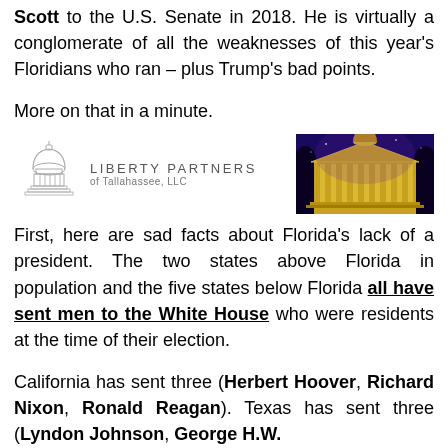Scott to the U.S. Senate in 2018. He is virtually a conglomerate of all the weaknesses of this year's Floridians who ran – plus Trump's bad points.
More on that in a minute.
[Figure (logo): Liberty Partners of Tallahassee, LLC logo with a capitol dome icon on left and a photo of a government building at night on right]
First, here are sad facts about Florida's lack of a president. The two states above Florida in population and the five states below Florida all have sent men to the White House who were residents at the time of their election.
California has sent three (Herbert Hoover, Richard Nixon, Ronald Reagan). Texas has sent three (Lyndon Johnson, George H.W.